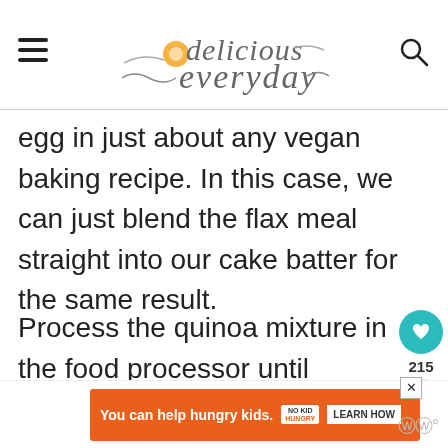delicious everyday
egg in just about any vegan baking recipe. In this case, we can just blend the flax meal straight into our cake batter for the same result.
Process the quinoa mixture in the food processor until smooth.
[Figure (screenshot): Orange advertisement banner: 'You can help hungry kids.' with No Kid Hungry logo and LEARN HOW button]